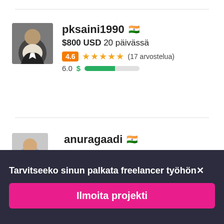[Figure (photo): Profile photo of freelancer pksaini1990, male in suit]
pksaini1990 🇮🇳
$800 USD 20 päivässä
4.6 ★★★★★ (17 arvostelua)
6.0 $ [progress bar]
[Figure (photo): Profile photo of freelancer anuragaadi, male smiling]
anuragaadi 🇮🇳
$1500 USD 41 päivässä
Tarvitseeko sinun palkata freelancer työhön✕
Ilmoita projekti